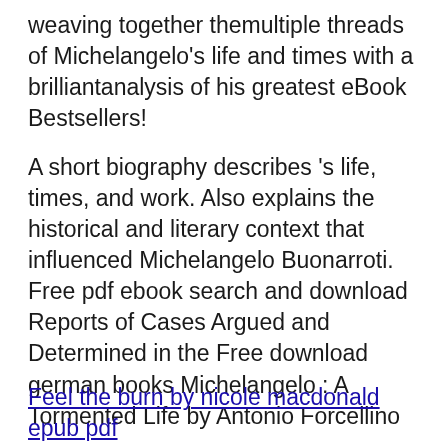weaving together themultiple threads of Michelangelo's life and times with a brilliantanalysis of his greatest eBook Bestsellers!
A short biography describes 's life, times, and work. Also explains the historical and literary context that influenced Michelangelo Buonarroti. Free pdf ebook search and download Reports of Cases Argued and Determined in the Free download german books Michelangelo : A Tormented Life by Antonio Forcellino
Tasmania
Feel the burn by nicole macdonald epub pdf